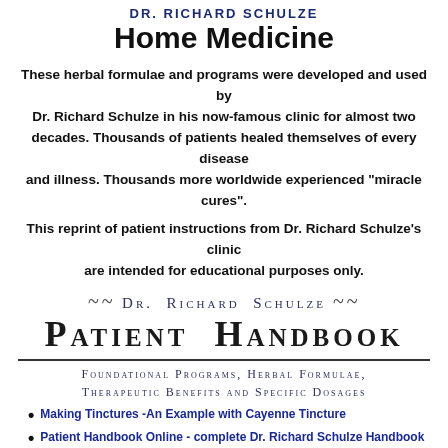Dr. Richard Schulze Home Medicine
Home Medicine
These herbal formulae and programs were developed and used by Dr. Richard Schulze in his now-famous clinic for almost two decades. Thousands of patients healed themselves of every disease and illness. Thousands more worldwide experienced "miracle cures".
This reprint of patient instructions from Dr. Richard Schulze's clinic are intended for educational purposes only.
[Figure (logo): Dr. Richard Schulze Patient Handbook logo with decorative swashes and small caps text]
Foundational Programs, Herbal Formulae, Therapeutic Benefits and Specific Dosages
Making Tinctures -An Example with Cayenne Tincture
Patient Handbook Online - complete Dr. Richard Schulze Handbook